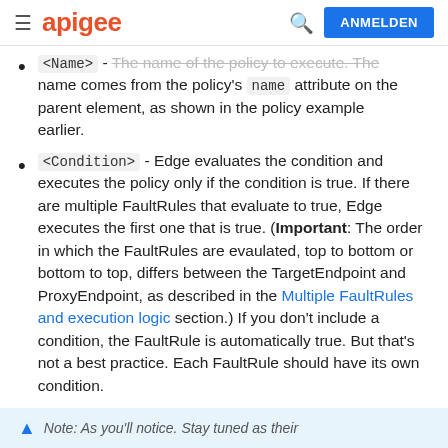apigee  ANMELDEN
<Name> - The name of the policy to execute. The name comes from the policy's name attribute on the parent element, as shown in the policy example earlier.
<Condition> - Edge evaluates the condition and executes the policy only if the condition is true. If there are multiple FaultRules that evaluate to true, Edge executes the first one that is true. (Important: The order in which the FaultRules are evaulated, top to bottom or bottom to top, differs between the TargetEndpoint and ProxyEndpoint, as described in the Multiple FaultRules and execution logic section.) If you don't include a condition, the FaultRule is automatically true. But that's not a best practice. Each FaultRule should have its own condition.
Note: ...